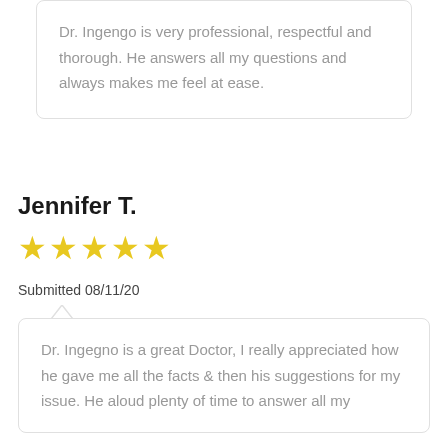Dr. Ingengo is very professional, respectful and thorough. He answers all my questions and always makes me feel at ease.
Jennifer T.
[Figure (other): Five yellow star rating icons]
Submitted 08/11/20
Dr. Ingegno is a great Doctor, I really appreciated how he gave me all the facts & then his suggestions for my issue. He aloud plenty of time to answer all my